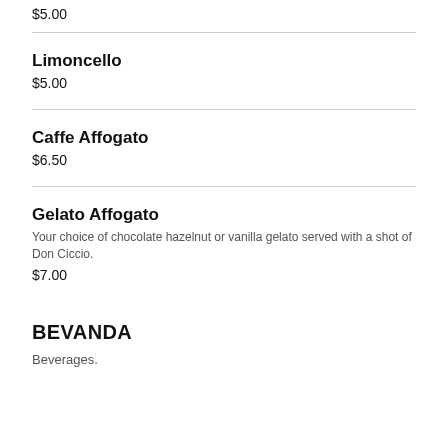$5.00
Limoncello
$5.00
Caffe Affogato
$6.50
Gelato Affogato
Your choice of chocolate hazelnut or vanilla gelato served with a shot of Don Ciccio.
$7.00
BEVANDA
Beverages.